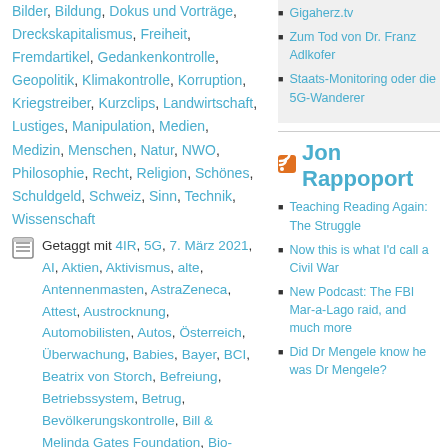Bilder, Bildung, Dokus und Vorträge, Dreckskapitalismus, Freiheit, Fremdartikel, Gedankenkontrolle, Geopolitik, Klimakontrolle, Korruption, Kriegstreiber, Kurzclips, Landwirtschaft, Lustiges, Manipulation, Medien, Medizin, Menschen, Natur, NWO, Philosophie, Recht, Religion, Schönes, Schuldgeld, Schweiz, Sinn, Technik, Wissenschaft
Getaggt mit 4IR, 5G, 7. März 2021, AI, Aktien, Aktivismus, alte, Antennenmasten, AstraZeneca, Attest, Austrocknung, Automobilisten, Autos, Österreich, Überwachung, Babies, Bayer, BCI, Beatrix von Storch, Befreiung, Betriebssystem, Betrug, Bevölkerungskontrolle, Bill & Melinda Gates Foundation, Bio-Ethik,
Gigaherz.tv
Zum Tod von Dr. Franz Adlkofer
Staats-Monitoring oder die 5G-Wanderer
Jon Rappoport
Teaching Reading Again: The Struggle
Now this is what I'd call a Civil War
New Podcast: The FBI Mar-a-Lago raid, and much more
Did Dr Mengele know he was Dr Mengele?